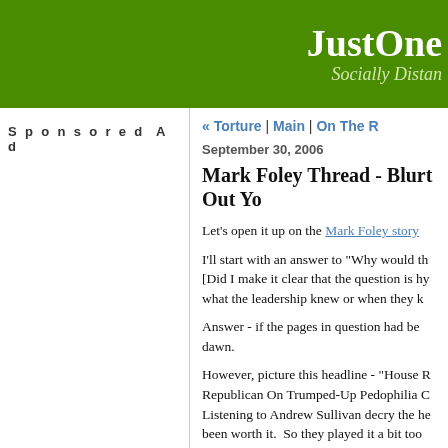JustOne... Socially Distan...
Sponsored Ad
« Torture | Main | On The R...
September 30, 2006
Mark Foley Thread - Blurt Out Yo...
Let's open it up on the Mark Foley story...
I'll start with an answer to "Why would th... [Did I make it clear that the question is hy... what the leadership knew or when they k...
Answer - if the pages in question had be... dawn.
However, picture this headline - "House R... Republican On Trumped-Up Pedophilia C... Listening to Andrew Sullivan decry the he... been worth it.  So they played it a bit too...
That is one bit of WILD SPECULATION.